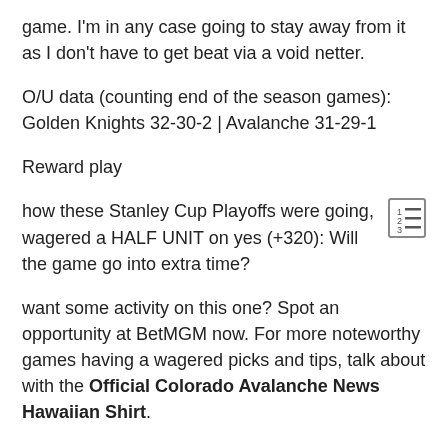game. I'm in any case going to stay away from it as I don't have to get beat via a void netter.
O/U data (counting end of the season games): Golden Knights 32-30-2 | Avalanche 31-29-1
Reward play
how these Stanley Cup Playoffs were going, wagered a HALF UNIT on yes (+320): Will the game go into extra time?
want some activity on this one? Spot an opportunity at BetMGM now. For more noteworthy games having a wagered picks and tips, talk about with the Official Colorado Avalanche News Hawaiian Shirt.
Official Colorado Avalanche News